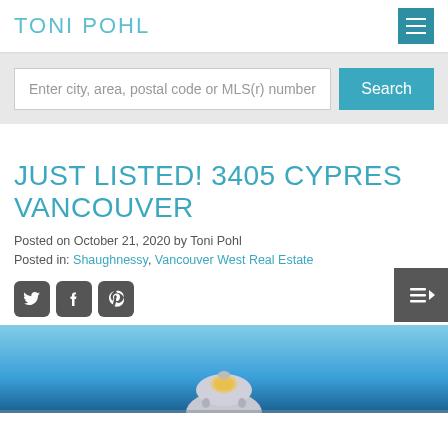TONI POHL
Enter city, area, postal code or MLS(r) number
JUST LISTED! 3405 CYPRESS VANCOUVER
Posted on October 21, 2020 by Toni Pohl
Posted in: Shaughnessy, Vancouver West Real Estate
[Figure (photo): Social media share icons: Twitter, Facebook, Pinterest]
[Figure (photo): Exterior photo of a house rooftop with dome architectural feature against a blue sky, partially visible at bottom of page]